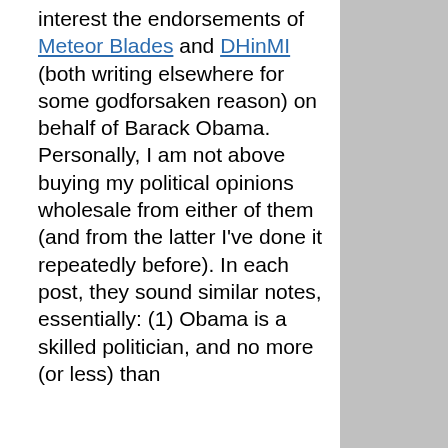interest the endorsements of Meteor Blades and DHinMI (both writing elsewhere for some godforsaken reason) on behalf of Barack Obama. Personally, I am not above buying my political opinions wholesale from either of them (and from the latter I've done it repeatedly before). In each post, they sound similar notes, essentially: (1) Obama is a skilled politician, and no more (or less) than